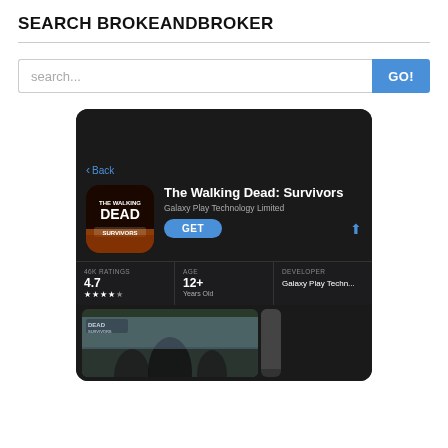SEARCH BROKEANDBROKER
search...
[Figure (screenshot): App Store screenshot showing The Walking Dead: Survivors app listing. Dark background with Back button, app icon, title 'The Walking Dead: Survivors', developer 'Galaxy Play Technology Limited', GET button, stats showing 46K Ratings, 4.7, 4.5 stars, Age 12+ Years Old, Developer Galaxy Play Techn..., and a bottom screenshot strip showing characters from the game.]